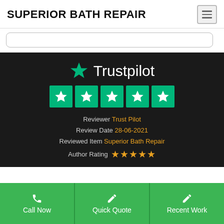SUPERIOR BATH REPAIR
[Figure (screenshot): Trustpilot logo with green star and white text, five green star rating boxes, review metadata showing Reviewer Trust Pilot, Review Date 28-06-2021, Reviewed Item Superior Bath Repair, Author Rating 5 gold stars]
Reviewer Trust Pilot
Review Date 28-06-2021
Reviewed Item Superior Bath Repair
Author Rating ★★★★★
Call Now
Quick Quote
Recent Work